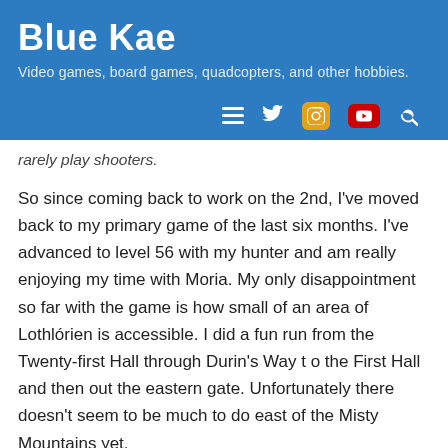Blue Kae
Video games, board games, quadcopters, and other hobbies.
rarely play shooters.
So since coming back to work on the 2nd, I've moved back to my primary game of the last six months.  I've advanced to level 56 with my hunter and am really enjoying my time with Moria.  My only disappointment so far with the game is how small of an area of Lothlórien is accessible.  I did a fun run from the Twenty-first Hall through Durin's Way t o the First Hall and then out the eastern gate.  Unfortunately there doesn't seem to be much to do east of the Misty Mountains yet.
So that's been my gaming time for the year to date (really including time since mid-December).  Please stay tuned, there's more comign shortly.